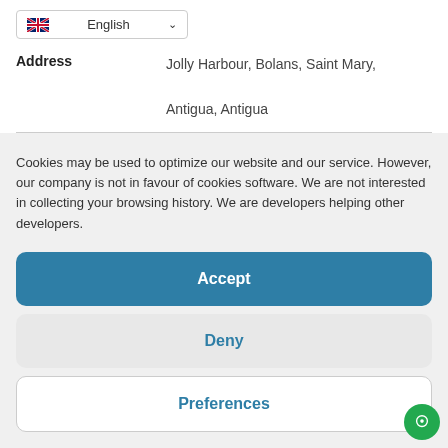[Figure (screenshot): Language selector dropdown showing UK flag and 'English' with a chevron/down arrow]
Address    Jolly Harbour, Bolans, Saint Mary, Antigua, Antigua
Cookies may be used to optimize our website and our service. However, our company is not in favour of cookies software. We are not interested in collecting your browsing history. We are developers helping other developers.
[Figure (screenshot): Accept button - large teal/blue rounded rectangle button with white bold text 'Accept']
[Figure (screenshot): Deny button - large light gray rounded rectangle button with teal bold text 'Deny']
[Figure (screenshot): Preferences button - large white rounded rectangle button with border and teal bold text 'Preferences']